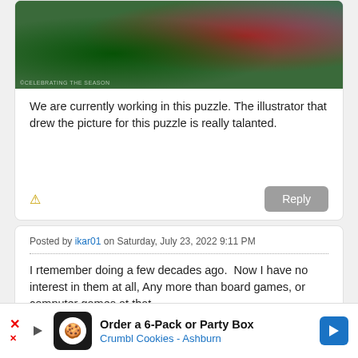[Figure (illustration): Colorful illustrated puzzle image showing people and vehicles including a green car and red vehicle, partially cropped at top]
We are currently working in this puzzle. The illustrator that drew the picture for this puzzle is really talanted.
Posted by ikar01 on Saturday, July 23, 2022 9:11 PM
I rtemember doing a few decades ago.  Now I have no interest in them at all, Any more than board games, or computer games at that.

I used to play Battletech and still have the figures  and
Order a 6-Pack or Party Box Crumbl Cookies - Ashburn